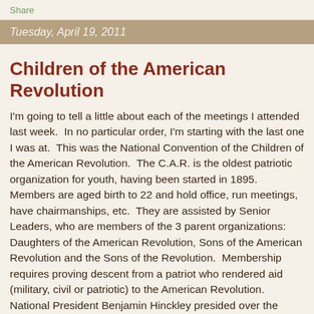Share
Tuesday, April 19, 2011
Children of the American Revolution
I'm going to tell a little about each of the meetings I attended last week.  In no particular order, I'm starting with the last one I was at.  This was the National Convention of the Children of the American Revolution.  The C.A.R. is the oldest patriotic organization for youth, having been started in 1895.  Members are aged birth to 22 and hold office, run meetings, have chairmanships, etc.  They are assisted by Senior Leaders, who are members of the 3 parent organizations: Daughters of the American Revolution, Sons of the American Revolution and the Sons of the Revolution.  Membership requires proving descent from a patriot who rendered aid (military, civil or patriotic) to the American Revolution.
National President Benjamin Hinckley presided over the 2011 convention.  His project over the past year was to raise funds to buy a new display case for the "Great Essentials"